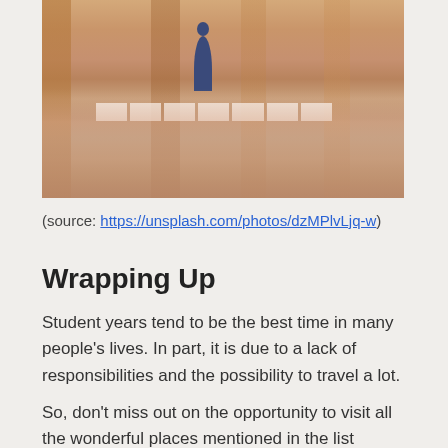[Figure (photo): Photo of a covered arcade/portico walkway with warm terracotta tones, a person walking away in the distance, arched columns on the right, and a tiled floor with a crosswalk pattern.]
(source: https://unsplash.com/photos/dzMPlvLjq-w)
Wrapping Up
Student years tend to be the best time in many people's lives. In part, it is due to a lack of responsibilities and the possibility to travel a lot.
So, don't miss out on the opportunity to visit all the wonderful places mentioned in the list above. This